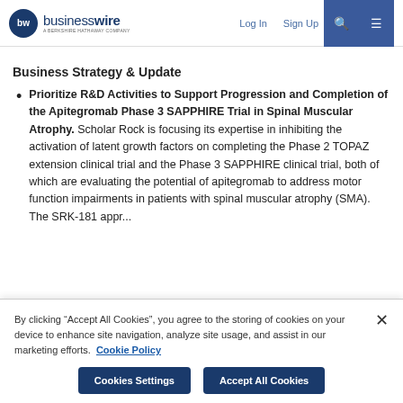businesswire — A BERKSHIRE HATHAWAY COMPANY | Log In | Sign Up
Business Strategy & Update
Prioritize R&D Activities to Support Progression and Completion of the Apitegromab Phase 3 SAPPHIRE Trial in Spinal Muscular Atrophy. Scholar Rock is focusing its expertise in inhibiting the activation of latent growth factors on completing the Phase 2 TOPAZ extension clinical trial and the Phase 3 SAPPHIRE clinical trial, both of which are evaluating the potential of apitegromab to address motor function impairments in patients with spinal muscular atrophy (SMA). The SRK-181...
By clicking “Accept All Cookies”, you agree to the storing of cookies on your device to enhance site navigation, analyze site usage, and assist in our marketing efforts. Cookie Policy
Cookies Settings | Accept All Cookies